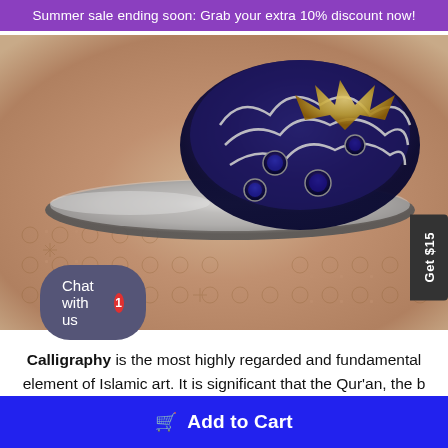Summer sale ending soon: Grab your extra 10% discount now!
[Figure (photo): Close-up photo of an ornate silver and gold ring with dark blue gemstones and intricate calligraphic/floral engravings, resting on a decorative laser-cut wooden surface with floral patterns.]
Calligraphy is the most highly regarded and fundamental element of Islamic art. It is significant that the Qur'an, the b of God's revelations to th mmaa, was transmitted in Arabic,
Chat with us
Add to Cart